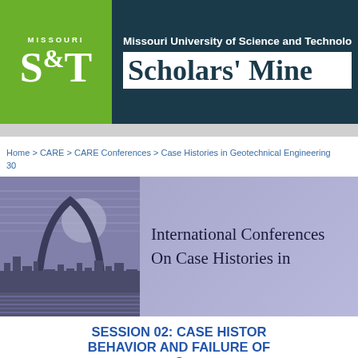Missouri University of Science and Technology — Scholars' Mine
Home > CARE > CARE Conferences > Case Histories in Geotechnical Engineering > 30
[Figure (illustration): International Conferences On Case Histories in Geotechnical Engineering banner with St. Louis arch city silhouette on left and conference title text on right, purple/blue gradient background]
SESSION 02: CASE HISTORIES BEHAVIOR AND FAILURE OF C